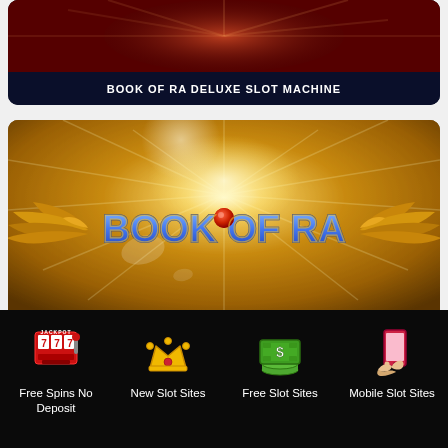[Figure (screenshot): Book of Ra Deluxe slot machine card with red glowing background, partially visible at top]
BOOK OF RA DELUXE SLOT MACHINE
[Figure (screenshot): Book of Ra slot machine card with golden sunburst background and Book of Ra logo with golden wings]
BOOK OF RA SLOT MACHINE
[Figure (screenshot): Partially visible third card with red background at bottom of page]
[Figure (infographic): Footer navigation bar with four icons: slot machine (Free Spins No Deposit), crown (New Slot Sites), money stack (Free Slot Sites), mobile phone (Mobile Slot Sites)]
Free Spins No Deposit
New Slot Sites
Free Slot Sites
Mobile Slot Sites